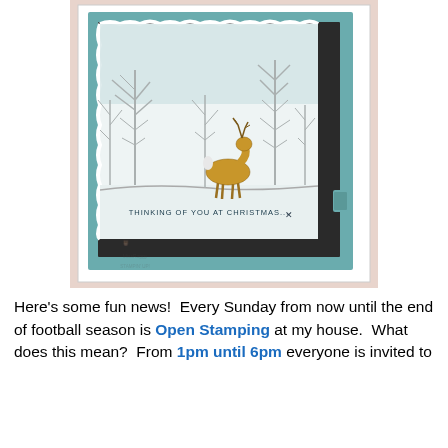[Figure (photo): A handmade Christmas greeting card propped open on a light pink surface. The card features a teal/blue-green background with a white watercolor-style panel showing a winter scene: bare trees, a golden-brown deer standing in snow, and the text 'THINKING OF YOU AT CHRISTMAS...' stamped at the bottom. The card has deckled edges on the inner panel and a small fabric tab closure on the right side. A watermark of an owl logo is visible in the lower left of the image.]
Here's some fun news!  Every Sunday from now until the end of football season is Open Stamping at my house.  What does this mean?  From 1pm until 6pm everyone is invited to